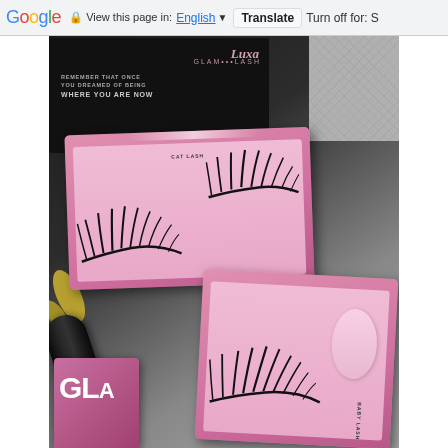Google  View this page in: English [▼]  Translate  Turn off for: S
[Figure (photo): Photo of Luxa Glam lash products: two pink eyelash boxes containing false eyelashes, a black mascara/eyeliner tube, and a pink Glam product box. The black packaging reads 'Remember that once you dreamed of being where you are now'. Products are arranged on a white surface with gold leaves and net texture visible.]